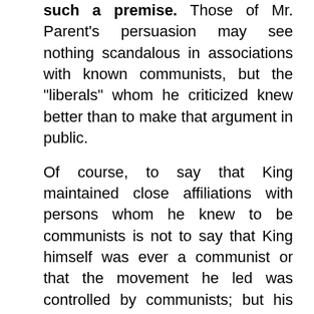such a premise. Those of Mr. Parent's persuasion may see nothing scandalous in associations with known communists, but the "liberals" whom he criticized knew better than to make that argument in public.
Of course, to say that King maintained close affiliations with persons whom he knew to be communists is not to say that King himself was ever a communist or that the movement he led was controlled by communists; but his continuing associations with communists, and his repeated dishonesty about those connections, do raise serious questions about his own character, about the nature of his own political views and goals, and about whether we as a nation should have awarded him (and should continue to award him) the honor the holiday confers. Moreover, the embarrassing political connections that were known at the time seem today to be merely the tip of the ethical and political iceberg with which King's reputation continues to collide.